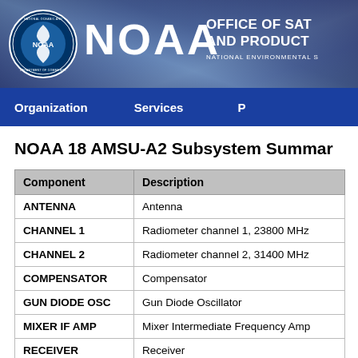[Figure (logo): NOAA header banner with NOAA logo, NOAA text, and Office of Satellite and Products text on blue/purple sky background]
Organization   Services   P
NOAA 18 AMSU-A2 Subsystem Summary
| Component | Description |
| --- | --- |
| ANTENNA | Antenna |
| CHANNEL 1 | Radiometer channel 1, 23800 MHz |
| CHANNEL 2 | Radiometer channel 2, 31400 MHz |
| COMPENSATOR | Compensator |
| GUN DIODE OSC | Gun Diode Oscillator |
| MIXER IF AMP | Mixer Intermediate Frequency Amp |
| RECEIVER | Receiver |